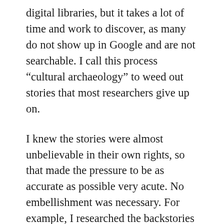digital libraries, but it takes a lot of time and work to discover, as many do not show up in Google and are not searchable. I call this process “cultural archaeology” to weed out stories that most researchers give up on.
I knew the stories were almost unbelievable in their own rights, so that made the pressure to be as accurate as possible very acute. No embellishment was necessary. For example, I researched the backstories of over 100 Virginia executions, with my goal to present the narratives of the arrest, convictions and executions of those mostly young black men dating back to 1908, to try